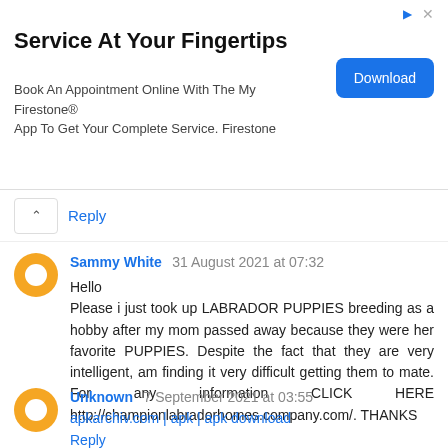[Figure (screenshot): Advertisement banner for My Firestone app with Download button]
Reply
Sammy White 31 August 2021 at 07:32
Hello
Please i just took up LABRADOR PUPPIES breeding as a hobby after my mom passed away because they were her favorite PUPPIES. Despite the fact that they are very intelligent, am finding it very difficult getting them to mate. For any information CLICK HERE http://championlabradorhomes.company.com/. THANKS
Reply
Unknown 7 September 2021 at 03:55
apkarchiv.com | apk | apk download